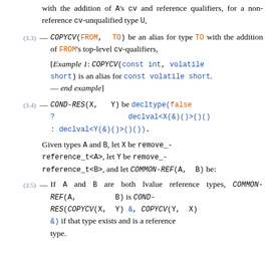with the addition of A's cv and reference qualifiers, for a non-reference cv-unqualified type U,
(3.3) — COPYCV(FROM, TO) be an alias for type TO with the addition of FROM's top-level cv-qualifiers, [Example 1: COPYCV(const int, volatile short) is an alias for const volatile short. — end example]
(3.4) — COND-RES(X, Y) be decltype(false ? declval<X(&)()>()() : declval<Y(&)()>()()).
Given types A and B, let X be remove_reference_t<A>, let Y be remove_reference_t<B>, and let COMMON-REF(A, B) be:
(3.5) — If A and B are both lvalue reference types, COMMON-REF(A, B) is COND-RES(COPYCV(X, Y) &, COPYCV(Y, X) &) if that type exists and is a reference type.